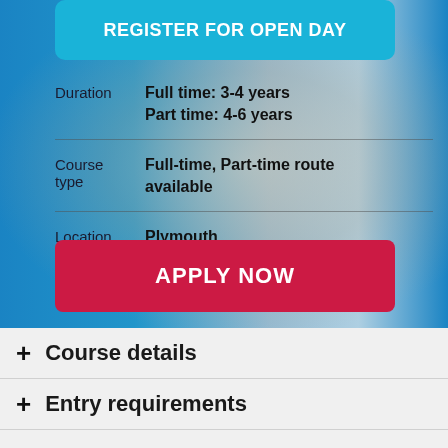REGISTER FOR OPEN DAY
| Label | Value |
| --- | --- |
| Duration | Full time: 3-4 years
Part time: 4-6 years |
| Course type | Full-time, Part-time route available |
| Location | Plymouth |
APPLY NOW
+ Course details
+ Entry requirements